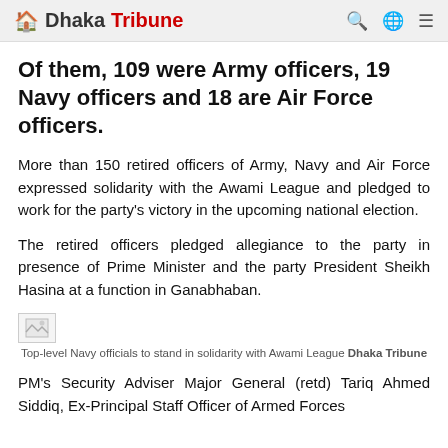Dhaka Tribune
Of them, 109 were Army officers, 19 Navy officers and 18 are Air Force officers.
More than 150 retired officers of Army, Navy and Air Force expressed solidarity with the Awami League and pledged to work for the party's victory in the upcoming national election.
The retired officers pledged allegiance to the party in presence of Prime Minister and the party President Sheikh Hasina at a function in Ganabhaban.
[Figure (photo): Broken image placeholder for top-level Navy officials standing in solidarity with Awami League]
Top-level Navy officials to stand in solidarity with Awami League Dhaka Tribune
PM's Security Adviser Major General (retd) Tariq Ahmed Siddiq, Ex-Principal Staff Officer of Armed Forces